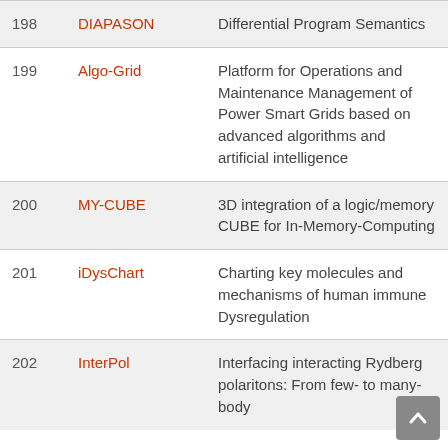| # | Name | Description |
| --- | --- | --- |
| 198 | DIAPASON | Differential Program Semantics |
| 199 | Algo-Grid | Platform for Operations and Maintenance Management of Power Smart Grids based on advanced algorithms and artificial intelligence |
| 200 | MY-CUBE | 3D integration of a logic/memory CUBE for In-Memory-Computing |
| 201 | iDysChart | Charting key molecules and mechanisms of human immune Dysregulation |
| 202 | InterPol | Interfacing interacting Rydberg polaritons: From few- to many-body |